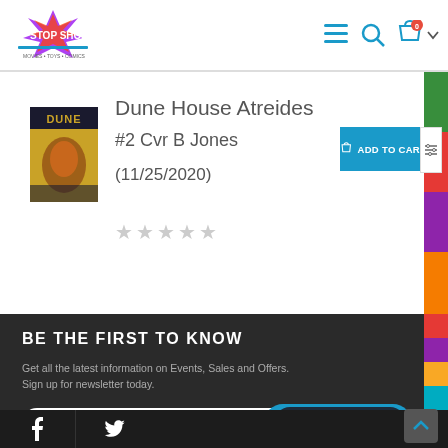Stop Shop — header with logo and navigation icons
Dune House Atreides
#2 Cvr B Jones
(11/25/2020)
[Figure (photo): Dune comic book cover image with yellow/gold background]
ADD TO CART
[Figure (other): 5 empty star rating symbols]
BE THE FIRST TO KNOW
Get all the latest information on Events, Sales and Offers. Sign up for newsletter today.
Email Address
Chat with us
f  Twitter social icons and scroll-to-top button